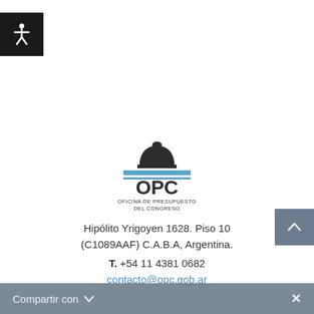[Figure (logo): Accessibility icon button (white figure on black background) in top-left corner]
[Figure (logo): OPC - Oficina de Presupuesto del Congreso logo with dome icon and blue horizontal stripes]
Hipólito Yrigoyen 1628. Piso 10 (C1089AAF) C.A.B.A, Argentina.
T. +54 11 4381 0682
contacto@opc.gob.ar
[Figure (other): Scroll-to-top button (chevron up arrow on slate blue background) on right side]
Compartir con  ×